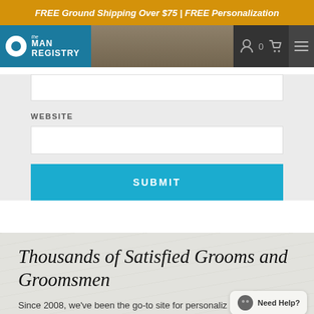FREE Ground Shipping Over $75 | FREE Personalization
[Figure (screenshot): The Man Registry website navigation bar with logo, wood-textured photo area, account icon, cart icon showing 0, and hamburger menu]
WEBSITE
[Figure (screenshot): Website URL input field (empty text box)]
[Figure (screenshot): SUBMIT button in teal/cyan color]
Thousands of Satisfied Grooms and Groomsmen
Since 2008, we've been the go-to site for personaliz...